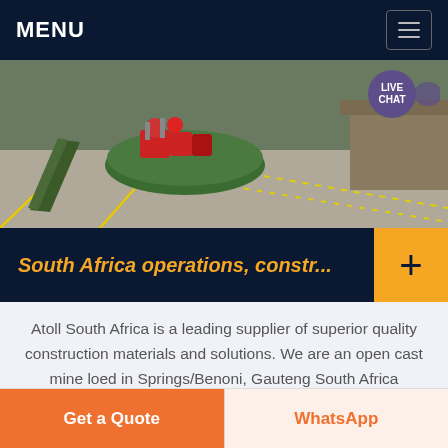MENU
[Figure (photo): Aerial view of an open cast mine or construction site with industrial machinery, red equipment on a green platform, and yellow dotted road markings on a concrete surface.]
South Africa operations, constr...
Atoll South Africa is a leading supplier of superior quality construction materials and solutions. We are an open cast mine loed in Springs/Benoni, Gauteng South Africa producing crushed Dolomitic stone with a lifespan of 37 plus years to mine.
Get a Quote
WhatsApp